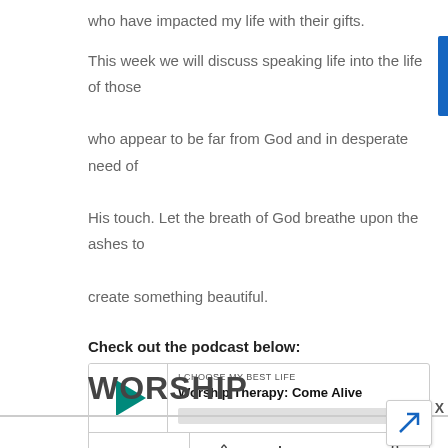who have impacted my life with their gifts.
This week we will discuss speaking life into the life of those who appear to be far from God and in desperate need of His touch. Let the breath of God breathe upon the ashes to create something beautiful.
Check out the podcast below:
[Figure (screenshot): Podcast player widget showing 'I CHOOSE MY BEST LIFE' podcast, episode 'Worship Therapy: Come Alive', with play button, time display 00:00:00, and control icons for subscribe, download, embed, and share.]
WORSHIP